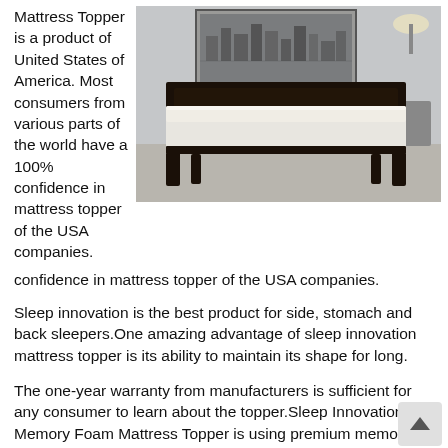Mattress Topper is a product of United States of America. Most consumers from various parts of the world have a 100% confidence in mattress topper of the USA companies.
[Figure (photo): A bed with a white mattress topper on a dark wooden bed frame, placed against a light grey wall with a framed cityscape print and a lamp in the background.]
Sleep innovation is the best product for side, stomach and back sleepers.One amazing advantage of sleep innovation mattress topper is its ability to maintain its shape for long.
The one-year warranty from manufacturers is sufficient for any consumer to learn about the topper.Sleep Innovations Memory Foam Mattress Topper is using premium memory